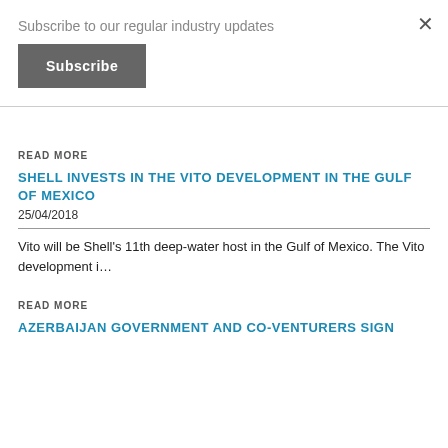Subscribe to our regular industry updates
Subscribe
READ MORE
SHELL INVESTS IN THE VITO DEVELOPMENT IN THE GULF OF MEXICO
25/04/2018
Vito will be Shell's 11th deep-water host in the Gulf of Mexico. The Vito development i...
READ MORE
AZERBAIJAN GOVERNMENT AND CO-VENTURERS SIGN